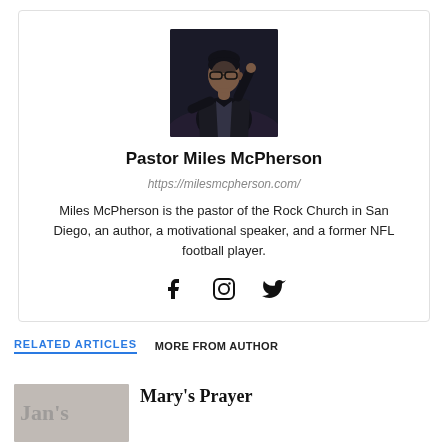[Figure (photo): Photo of Pastor Miles McPherson on stage, wearing a dark jacket, gesturing with hands, dark background]
Pastor Miles McPherson
https://milesmcpherson.com/
Miles McPherson is the pastor of the Rock Church in San Diego, an author, a motivational speaker, and a former NFL football player.
[Figure (illustration): Social media icons: Facebook, Instagram, Twitter]
RELATED ARTICLES
MORE FROM AUTHOR
[Figure (photo): Thumbnail image for article]
Mary's Prayer